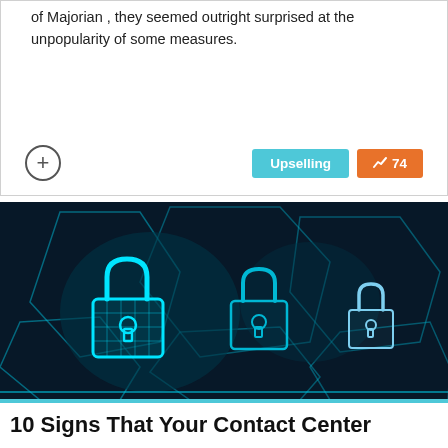of Majorian , they seemed outright surprised at the unpopularity of some measures.
[Figure (illustration): Cyan glowing padlocks on dark background with hexagonal geometric patterns, cybersecurity themed image]
10 Signs That Your Contact Center